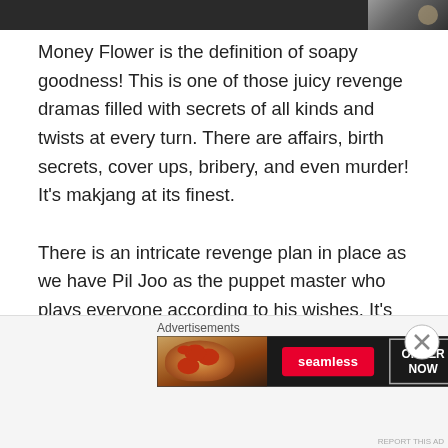[Figure (photo): Dark photo strip at top of page, partial image visible]
Money Flower is the definition of soapy goodness! This is one of those juicy revenge dramas filled with secrets of all kinds and twists at every turn. There are affairs, birth secrets, cover ups, bribery, and even murder! It's makjang at its finest.

There is an intricate revenge plan in place as we have Pil Joo as the puppet master who plays everyone according to his wishes. It's brilliant to watch unfold! Jang Hyuk is perfection in this role, and you must have someone like him to convey the many aspects of Pil Joo. Watching him was completely captivating, and he commands your
Advertisements
[Figure (screenshot): Seamless food delivery advertisement banner with pizza image, Seamless logo in red, and ORDER NOW button]